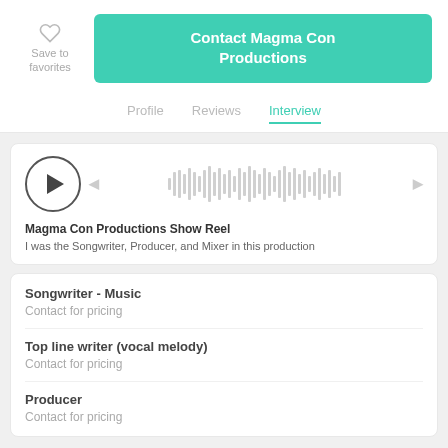Save to favorites
Contact Magma Con Productions
Profile   Reviews   Interview
[Figure (other): Audio player with play button circle, waveform visualization, skip back and skip forward controls]
Magma Con Productions Show Reel
I was the Songwriter, Producer, and Mixer in this production
Songwriter - Music
Contact for pricing
Top line writer (vocal melody)
Contact for pricing
Producer
Contact for pricing